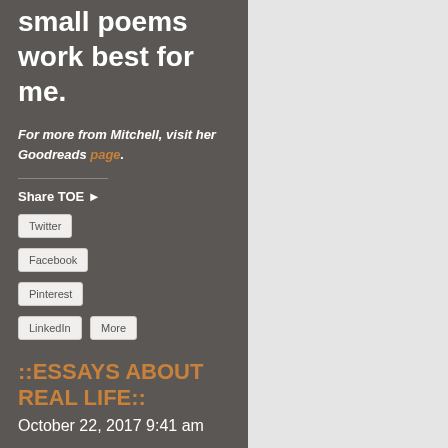small poems work best for me.
For more from Mitchell, visit her Goodreads page.
Share TOE ►
Twitter
Facebook
Pinterest
LinkedIn
More
::ESSAYS ABOUT REAL LIFE::
October 22, 2017 9:41 am